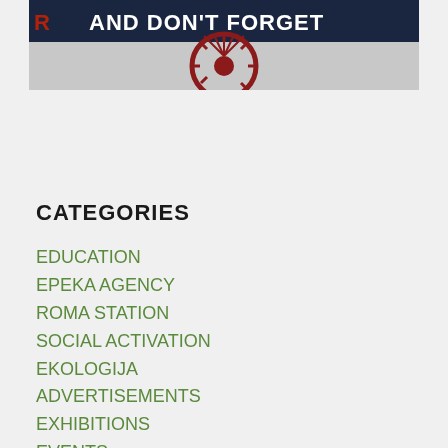[Figure (photo): Banner image showing a Roma-related poster with text 'AND DON'T FORGET' in white on dark background, with a decorative red wheel/chakra symbol on grey background below]
CATEGORIES
EDUCATION
EPEKA AGENCY
ROMA STATION
SOCIAL ACTIVATION
EKOLOGIJA
ADVERTISEMENTS
EXHIBITIONS
EVENTS
EDUCATION